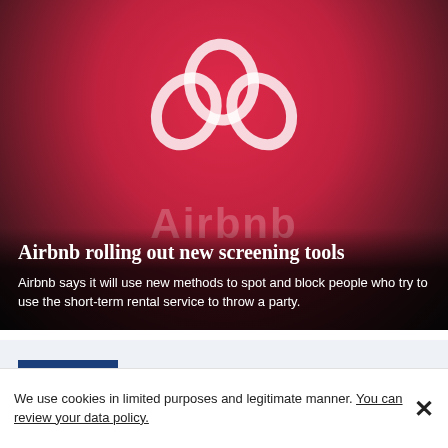[Figure (photo): Close-up of the Airbnb app icon on a dark screen, showing the red rounded square with white infinity/loop logo, with the Airbnb brand name faintly visible below. Overlaid text includes a headline and summary.]
Airbnb rolling out new screening tools
Airbnb says it will use new methods to spot and block people who try to use the short-term rental service to throw a party.
SPORTS
We use cookies in limited purposes and legitimate manner. You can review your data policy.